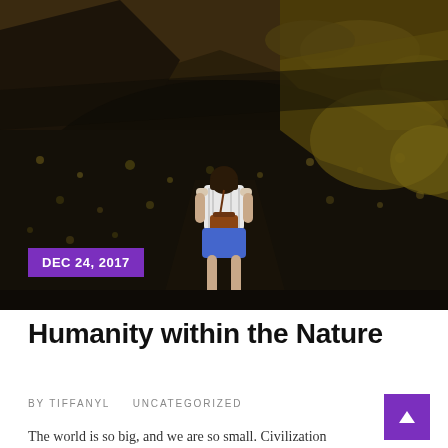[Figure (photo): Aerial view of a volcanic landscape with dark lava fields and golden-green vegetation on hillsides; a young woman seen from behind wearing a white top, blue shorts, and carrying a brown satchel bag walks along a dark volcanic path]
DEC 24, 2017
Humanity within the Nature
BY TIFFANYL   UNCATEGORIZED
The world is so big, and we are so small. Civilization